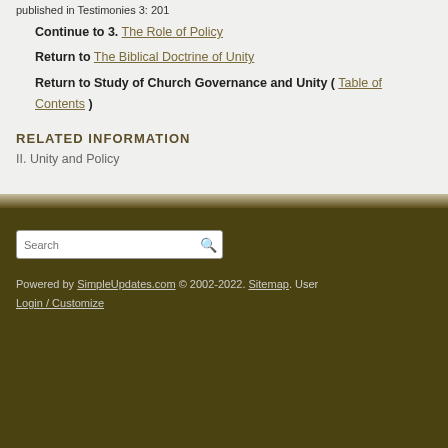published in Testimonies 3: 201
Continue to  3.  The Role of Policy
Return to  The Biblical Doctrine of Unity
Return to Study of Church Governance and Unity ( Table of Contents )
RELATED INFORMATION
II. Unity and Policy
Powered by SimpleUpdates.com © 2002-2022. Sitemap. User Login / Customize